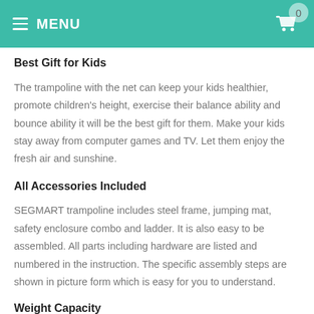MENU
Best Gift for Kids
The trampoline with the net can keep your kids healthier, promote children's height, exercise their balance ability and bounce ability it will be the best gift for them. Make your kids stay away from computer games and TV. Let them enjoy the fresh air and sunshine.
All Accessories Included
SEGMART trampoline includes steel frame, jumping mat, safety enclosure combo and ladder. It is also easy to be assembled. All parts including hardware are listed and numbered in the instruction. The specific assembly steps are shown in picture form which is easy for you to understand.
Weight Capacity